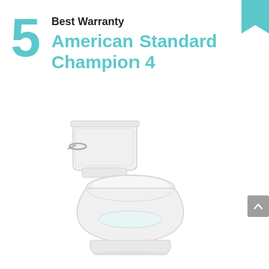5 Best Warranty American Standard Champion 4
[Figure (photo): Product photo of the American Standard Champion 4 one-piece toilet in white, shown from a 3/4 angle, displaying the tank with chrome flush handle, seat, bowl, and base.]